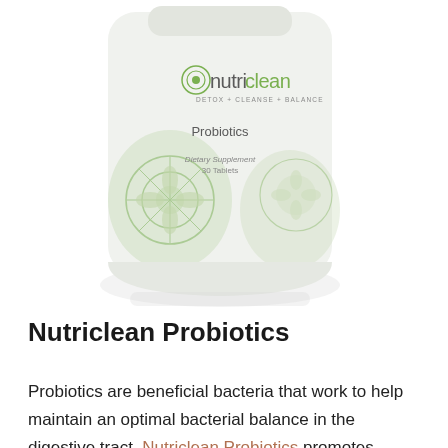[Figure (photo): Nutriclean Probiotics supplement bottle — white cylindrical container with green logo reading 'nutriclean DETOX + CLEANSE + BALANCE', 'Probiotics', 'Dietary Supplement 30 Tablets', with green floral decorative elements on the label.]
Nutriclean Probiotics
Probiotics are beneficial bacteria that work to help maintain an optimal bacterial balance in the digestive tract. Nutriclean Probiotics promotes healthy digestion by providing beneficial bacteria to